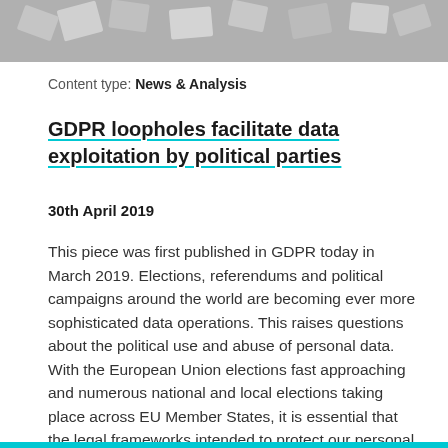[Figure (photo): Grayscale photo showing scattered paper documents or cards from above]
Content type: News & Analysis
GDPR loopholes facilitate data exploitation by political parties
30th April 2019
This piece was first published in GDPR today in March 2019. Elections, referendums and political campaigns around the world are becoming ever more sophisticated data operations. This raises questions about the political use and abuse of personal data. With the European Union elections fast approaching and numerous national and local elections taking place across EU Member States, it is essential that the legal frameworks intended to protect our personal data do just that. Member State laws...